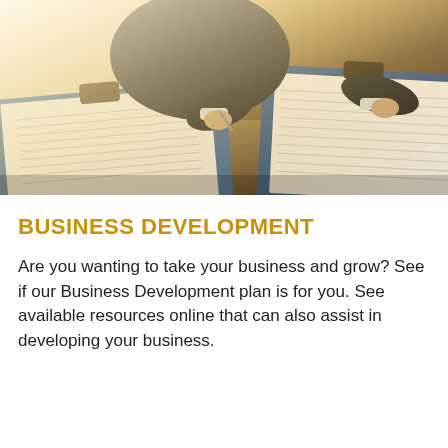[Figure (photo): Business professional in dark suit writing on clipboard at desk with multiple clipboards holding documents, backlit by window light, warm tone]
BUSINESS DEVELOPMENT
Are you wanting to take your business and grow? See if our Business Development plan is for you. See available resources online that can also assist in developing your business.